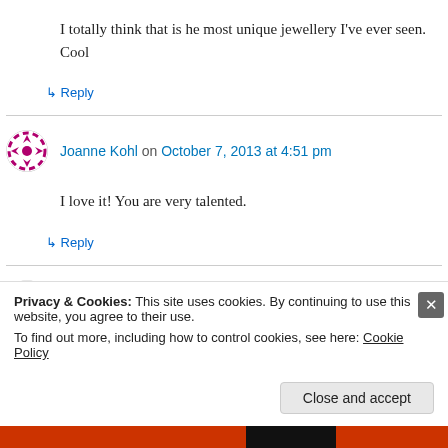I totally think that is he most unique jewellery I've ever seen. Cool
↳ Reply
Joanne Kohl on October 7, 2013 at 4:51 pm
I love it! You are very talented.
↳ Reply
Sonia on October 7, 2013 at 4:56 pm
Privacy & Cookies: This site uses cookies. By continuing to use this website, you agree to their use. To find out more, including how to control cookies, see here: Cookie Policy
Close and accept